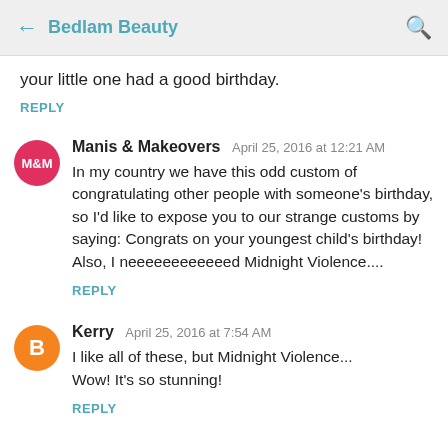← Bedlam Beauty 🔍
your little one had a good birthday.
REPLY
Manis & Makeovers   April 25, 2016 at 12:21 AM
In my country we have this odd custom of congratulating other people with someone's birthday, so I'd like to expose you to our strange customs by saying: Congrats on your youngest child's birthday!
Also, I neeeeeeeeeeeed Midnight Violence....
REPLY
Kerry   April 25, 2016 at 7:54 AM
I like all of these, but Midnight Violence...
Wow! It's so stunning!
REPLY